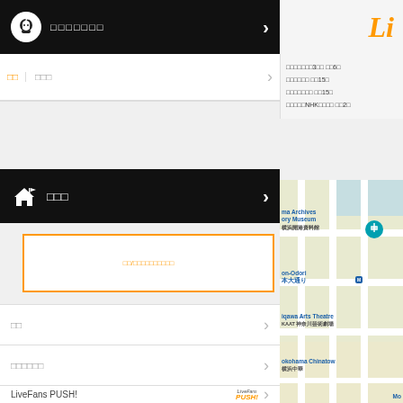[Figure (screenshot): Black navigation bar with chef/ghost icon and Japanese text, with right arrow]
[Figure (logo): Orange 'Li' logo top right]
□□□□ □□□
[Figure (screenshot): Black navigation bar with house/flag icon and Japanese text]
[Figure (screenshot): Orange bordered input box with orange placeholder text]
□□
□□□□□□
LiveFans PUSH!
□□□□□□□□
□□□□
□□□□
□□□□□□□3□□ □□6□
□□□□□□ □□15□
□□□□□□□ □□15□
□□□□□NHK□□□□ □□2□
[Figure (map): Street map showing ma Archives ory Museum 横浜開港資料館, on-Odori 本大通り, iqawa Arts Theatre KAAT神奈川芸術劇場, okohama Chinatown 横浜中華]